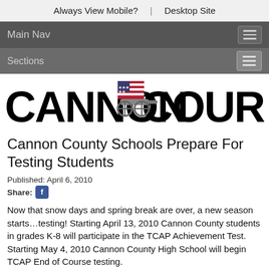Always View Mobile?  |  Desktop Site
Main Nav
Sections
[Figure (logo): Cannon Courier newspaper logo with large bold text and a cannon with American flag graphic in the middle]
Cannon County Schools Prepare For Testing Students
Published: April 6, 2010
Share: [Facebook icon]
Now that snow days and spring break are over, a new season starts…testing! Starting April 13, 2010 Cannon County students in grades K-8 will participate in the TCAP Achievement Test. Starting May 4, 2010 Cannon County High School will begin TCAP End of Course testing.